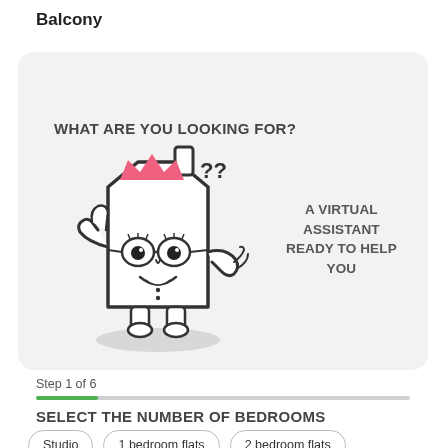Balcony
[Figure (infographic): A cartoon house mascot character wearing glasses and a pink crown, with two question marks above it, giving a thumbs up gesture. Text reads: A VIRTUAL ASSISTANT READY TO HELP YOU. Below: Step 1 of 6 with a progress bar (first segment filled green).]
WHAT ARE YOU LOOKING FOR?
A VIRTUAL ASSISTANT READY TO HELP YOU
Step 1 of 6
SELECT THE NUMBER OF BEDROOMS
Studio
1 bedroom flats
2 bedroom flats